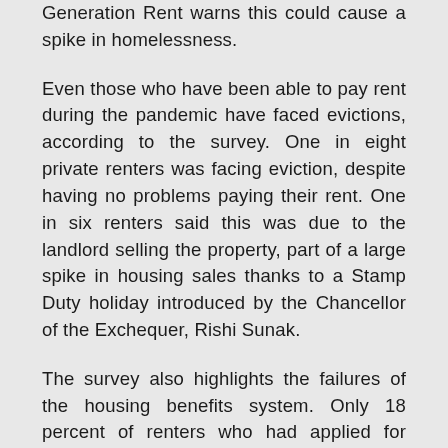Generation Rent warns this could cause a spike in homelessness.
Even those who have been able to pay rent during the pandemic have faced evictions, according to the survey. One in eight private renters was facing eviction, despite having no problems paying their rent. One in six renters said this was due to the landlord selling the property, part of a large spike in housing sales thanks to a Stamp Duty holiday introduced by the Chancellor of the Exchequer, Rishi Sunak.
The survey also highlights the failures of the housing benefits system. Only 18 percent of renters who had applied for housing benefits since the beginning